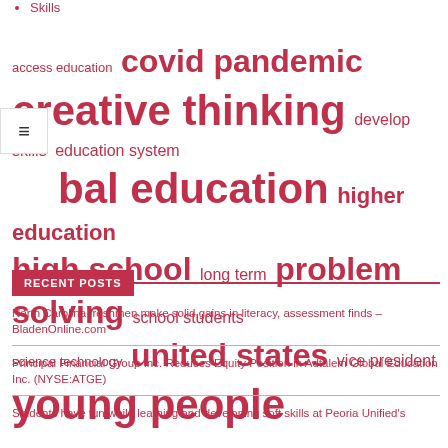Skills
[Figure (infographic): Tag cloud with education-related terms in crimson/pink: access education, covid pandemic, creative thinking, develop skills, education system, global education, higher education, high school, long term, problem solving, school students, science technology, united states, vice president, young people. Terms appear in varying font sizes indicating frequency/importance.]
RECENT POSTS
North Carolina freshmen make solid gains in literacy, assessment finds – BladenOnline.com
Principal Financial Group Inc. Reduces Equity Position in Adtalem Global Education Inc. (NYSE:ATGE)
Students have fun while learning and developing soft skills at Peoria Unified's